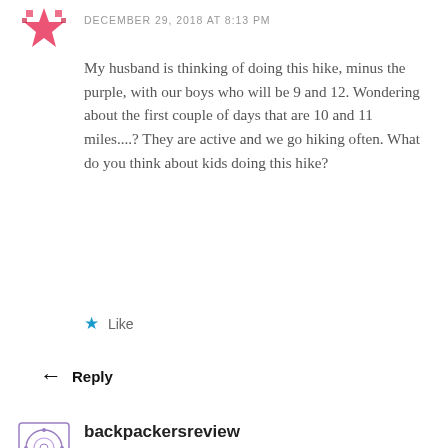DECEMBER 29, 2018 AT 8:13 PM
My husband is thinking of doing this hike, minus the purple, with our boys who will be 9 and 12. Wondering about the first couple of days that are 10 and 11 miles....? They are active and we go hiking often. What do you think about kids doing this hike?
★ Like
Reply
[Figure (illustration): Pink/red star pixel avatar icon]
backpackersreview
DECEMBER 30, 2018 AT 12:13 AM
[Figure (illustration): Purple circular pattern avatar icon]
The first day will be tough as they need to go over flattop Mountain. If they are beginners, I would definitely leave early! It's hard to say